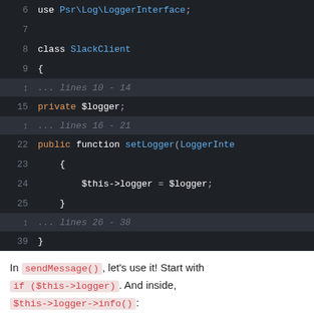[Figure (screenshot): Dark-themed code editor showing PHP class SlackClient with line numbers 6-39, including collapsed line ranges (10-14, 16-21, 26-38), a private $logger property, and a setLogger method.]
In sendMessage(), let's use it! Start with if ($this->logger). And inside, $this->logger->info():
[Figure (screenshot): Dark-themed code editor header showing '40 lines | src/Service/SlackClient.php' with collapsed lines 1-7, then line 8 'class SlackClient' and line 9 '{'.]